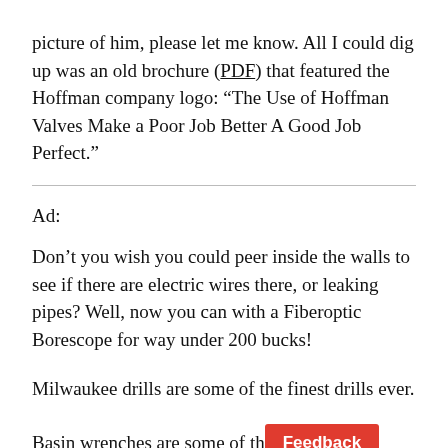picture of him, please let me know. All I could dig up was an old brochure (PDF) that featured the Hoffman company logo: “The Use of Hoffman Valves Make a Poor Job Better A Good Job Perfect.”
Ad:
Don’t you wish you could peer inside the walls to see if there are electric wires there, or leaking pipes? Well, now you can with a Fiberoptic Borescope for way under 200 bucks!
Milwaukee drills are some of the finest drills ever.
Basin wrenches are some of th [Feedback] tools